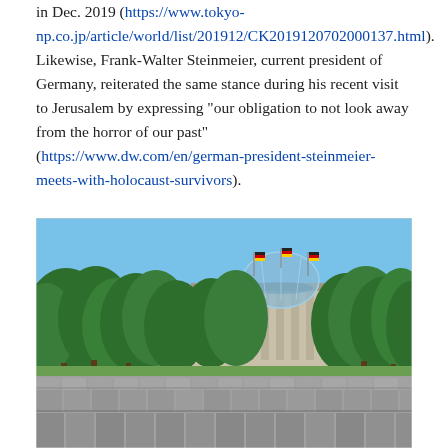in Dec. 2019 (https://www.tokyo-np.co.jp/article/world/list/201912/CK2019120702000137.html). Likewise, Frank-Walter Steinmeier, current president of Germany, reiterated the same stance during his recent visit to Jerusalem by expressing "our obligation to not look away from the horror of our past" (https://www.dw.com/en/german-president-steinmeier-meets-with-holocaust-survivors).
[Figure (photo): Outdoor photograph showing the Memorial to the Murdered Jews of Europe (Holocaust Memorial) in Berlin, with rows of grey concrete slabs in the foreground and the Reichstag building with its glass dome and German flags visible behind trees in the background under a blue sky.]